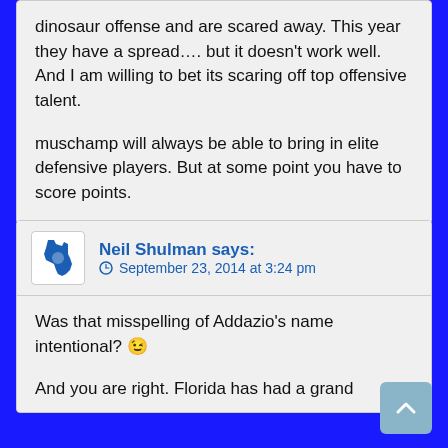dinosaur offense and are scared away. This year they have a spread…. but it doesn't work well. And I am willing to bet its scaring off top offensive talent.

muschamp will always be able to bring in elite defensive players. But at some point you have to score points.
Neil Shulman says: September 23, 2014 at 3:24 pm
Was that misspelling of Addazio's name intentional? :)

And you are right. Florida has had a grand